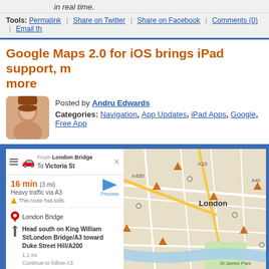in real time.
Tools: Permalink | Share on Twitter | Share on Facebook | Comments (0) | Email th
Google Maps 2.0 for iOS brings iPad support, more
Posted by Andru Edwards
Categories: Navigation, App Updates, iPad Apps, Google, Free App
[Figure (screenshot): Google Maps directions screenshot showing route from London Bridge to Victoria St, 16 min (3 mi), Heavy traffic via A3, with toll warning. Steps show London Bridge start, Head south on King William St/London Bridge/A3 toward Duke Street Hill/A200. Map of London shown on right side.]